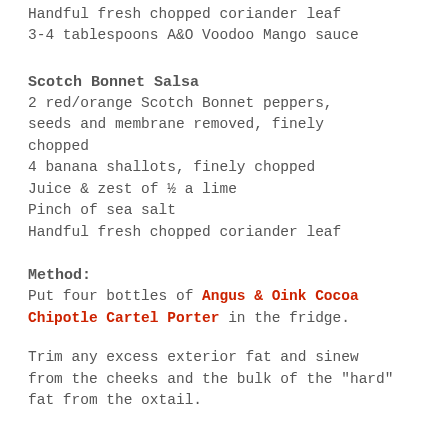Handful fresh chopped coriander leaf
3-4 tablespoons A&O Voodoo Mango sauce
Scotch Bonnet Salsa
2 red/orange Scotch Bonnet peppers, seeds and membrane removed, finely chopped
4 banana shallots, finely chopped
Juice & zest of ½ a lime
Pinch of sea salt
Handful fresh chopped coriander leaf
Method:
Put four bottles of Angus & Oink Cocoa Chipotle Cartel Porter in the fridge.
Trim any excess exterior fat and sinew from the cheeks and the bulk of the "hard" fat from the oxtail.